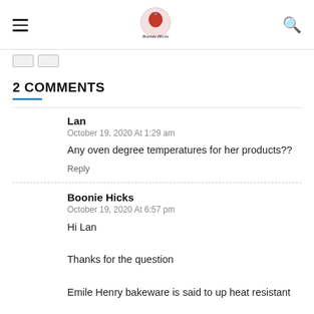Boonie Hicks blog header with hamburger menu, logo, and search icon
2 COMMENTS
Lan
October 19, 2020 At 1:29 am
Any oven degree temperatures for her products??
Reply
Boonie Hicks
October 19, 2020 At 6:57 pm
Hi Lan

Thanks for the question

Emile Henry bakeware is said to up heat resistant